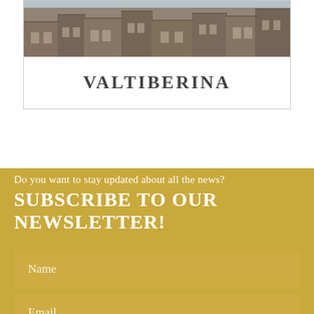[Figure (photo): Aerial or elevated view of Italian rooftops in Valtiberina, showing densely packed stone and terracotta-roofed buildings on a hillside]
VALTIBERINA
Do you want to stay updated about all the news?
SUBSCRIBE TO OUR NEWSLETTER!
Name
Email